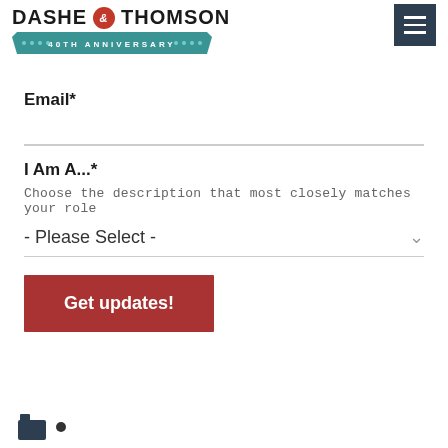[Figure (logo): Dashe & Thomson logo with 40th Anniversary banner ribbon and hamburger menu icon in dark navy]
Email*
I Am A...*
Choose the description that most closely matches your role
- Please Select -
Get updates!